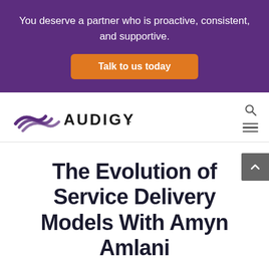You deserve a partner who is proactive, consistent, and supportive.
Talk to us today
[Figure (logo): Audigy logo with purple wave/sound-wave icon and AUDIGY wordmark in dark purple/black]
The Evolution of Service Delivery Models With Amyn Amlani